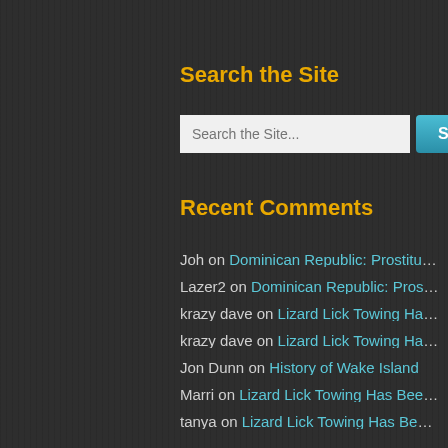Search the Site
[Figure (screenshot): Search input box with placeholder 'Search the Site...' and a teal Search button]
Recent Comments
Joh on Dominican Republic: Prostitution
Lazer2 on Dominican Republic: Prostituti...
krazy dave on Lizard Lick Towing Has Be...
krazy dave on Lizard Lick Towing Has Be...
Jon Dunn on History of Wake Island
Marri on Lizard Lick Towing Has Been Li...
tanya on Lizard Lick Towing Has Been Li...
geofraz on Dominican Republic: Prostitu...
Chairul on Windows XP and ZIP Files
Gloria on Lizard Lick Towing Has Been Li